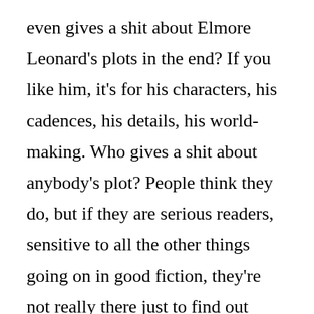even gives a shit about Elmore Leonard's plots in the end? If you like him, it's for his characters, his cadences, his details, his world-making. Who gives a shit about anybody's plot? People think they do, but if they are serious readers, sensitive to all the other things going on in good fiction, they're not really there just to find out what happened next. A novel should be a delivery system for astonishment, for feeling, for ideas, perhaps. It's not a film treatment. You need motion, of course, always motion, always momentum, motion or the semblance of motion, but that doesn't have to